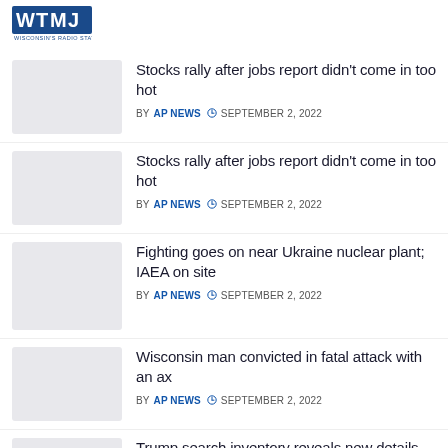[Figure (logo): WTMJ Wisconsin's Radio Station logo in blue]
Stocks rally after jobs report didn't come in too hot — BY AP NEWS — SEPTEMBER 2, 2022
Stocks rally after jobs report didn't come in too hot — BY AP NEWS — SEPTEMBER 2, 2022
Fighting goes on near Ukraine nuclear plant; IAEA on site — BY AP NEWS — SEPTEMBER 2, 2022
Wisconsin man convicted in fatal attack with an ax — BY AP NEWS — SEPTEMBER 2, 2022
Trump search inventory reveals new details from FBI seizure — BY AP NEWS — SEPTEMBER 2, 2022